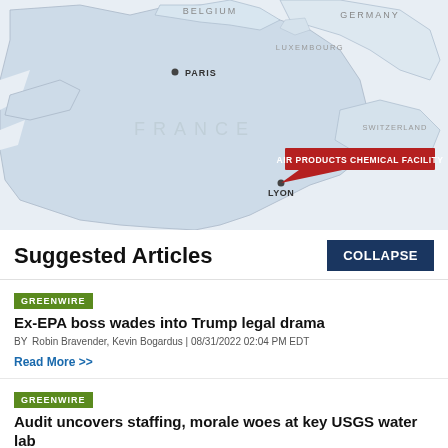[Figure (map): Map of France and surrounding countries (Belgium, Germany, Luxembourg, Switzerland) showing a red callout label 'AIR PRODUCTS CHEMICAL FACILITY' near Lyon, France. Paris is marked with a dot. Country names visible: FRANCE, BELGIUM, GERMANY, LUXEMBOURG, SWITZERLAND.]
Suggested Articles
COLLAPSE
GREENWIRE
Ex-EPA boss wades into Trump legal drama
BY Robin Bravender, Kevin Bogardus | 08/31/2022 02:04 PM EDT
Read More >>
GREENWIRE
Audit uncovers staffing, morale woes at key USGS water lab